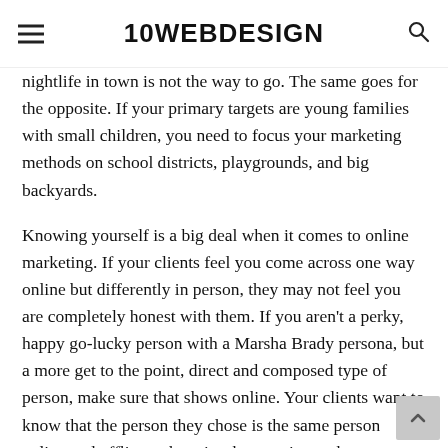10WEBDESIGN
nightlife in town is not the way to go. The same goes for the opposite. If your primary targets are young families with small children, you need to focus your marketing methods on school districts, playgrounds, and big backyards.
Knowing yourself is a big deal when it comes to online marketing. If your clients feel you come across one way online but differently in person, they may not feel you are completely honest with them. If you aren't a perky, happy go-lucky person with a Marsha Brady persona, but a more get to the point, direct and composed type of person, make sure that shows online. Your clients want to know that the person they chose is the same person online and offline; otherwise the trust is not there.
Make Your Point
Homebuyers don't have a lot of time, but they do have some.